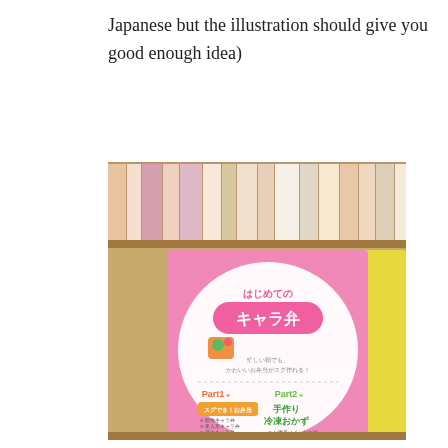Japanese but the illustration should give you good enough idea)
[Figure (photo): A photograph of a pink Japanese bento cookbook titled 'Hajimete no Kyara-ben' (First Character Bento), showing the book cover with Japanese text describing Part 1 and Part 2 sections, displayed in front of a bookshelf filled with Japanese books.]